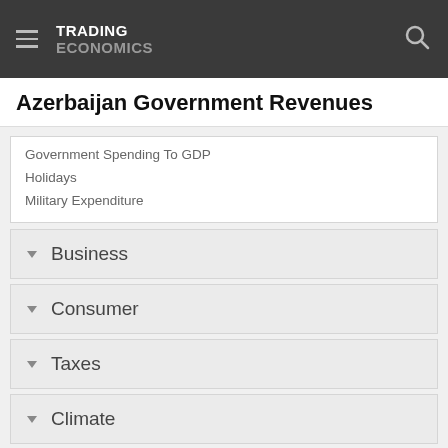TRADING ECONOMICS
Azerbaijan Government Revenues
Government Spending To GDP
Holidays
Military Expenditure
Business
Consumer
Taxes
Climate
More Indicators
National Statistics